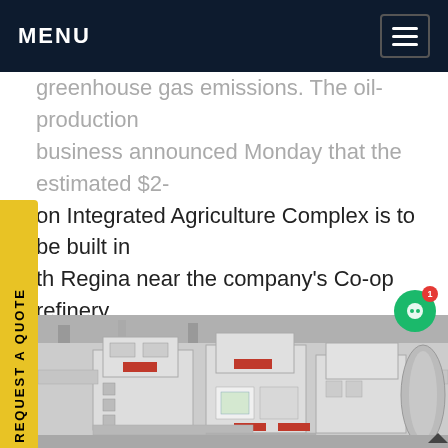MENU
greenhouse gas emissions. The oil-production business announced Monday that the estimated $2-on Integrated Agriculture Complex is to be built in th Regina near the company's Co-op refinery l in partnership Get price
[Figure (photo): Industrial machinery interior showing large white metal control boxes, pipes, and equipment in an industrial or agricultural processing facility.]